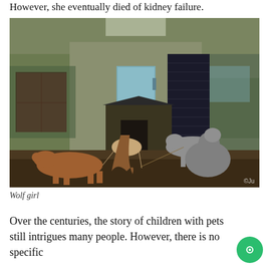However, she eventually died of kidney failure.
[Figure (photo): A dramatic artistic photo of a feral-looking young woman with long hair crouching among wolves/dogs in an abandoned, moss-covered outdoor corridor with a kennel, blue door, and dark wooden slats.]
Wolf girl
Over the centuries, the story of children with pets still intrigues many people. However, there is no specific